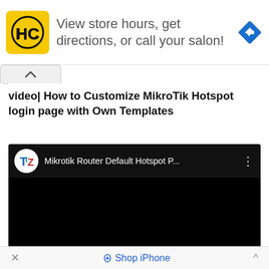[Figure (screenshot): Advertisement banner with HC logo (yellow square with black HC text), text 'View store hours, get directions, or call your salon!', and a blue diamond navigation icon on the right.]
video| How to Customize MikroTik Hotspot login page with Own Templates
[Figure (screenshot): Embedded YouTube video player showing 'Mikrotik Router Default Hotspot P...' with channel logo TZ (Tech Zone), black video body, and three-dot menu icon.]
× Shop iPhone ^